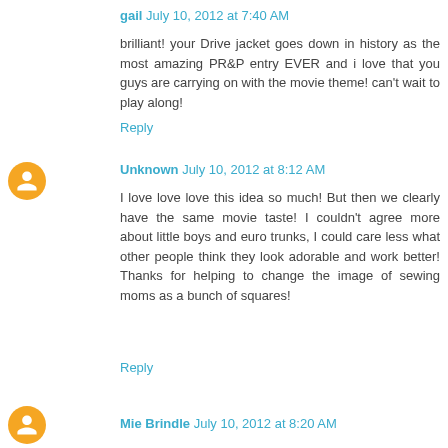gail July 10, 2012 at 7:40 AM
brilliant! your Drive jacket goes down in history as the most amazing PR&P entry EVER and i love that you guys are carrying on with the movie theme! can't wait to play along!
Reply
Unknown July 10, 2012 at 8:12 AM
I love love love this idea so much! But then we clearly have the same movie taste! I couldn't agree more about little boys and euro trunks, I could care less what other people think they look adorable and work better! Thanks for helping to change the image of sewing moms as a bunch of squares!
Reply
Mie Brindle July 10, 2012 at 8:20 AM